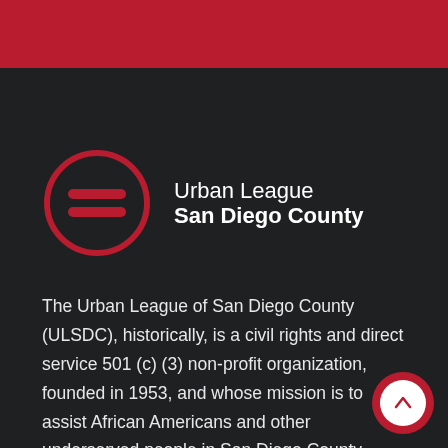[Figure (logo): Urban League San Diego County logo: red circle with two horizontal bars (equal sign), beside text 'Urban League' (normal weight) and 'San Diego County' (bold)]
The Urban League of San Diego County (ULSDC), historically, is a civil rights and direct service 501 (c) (3) non-profit organization, founded in 1953, and whose mission is to assist African Americans and other underserved people in San Diego County...